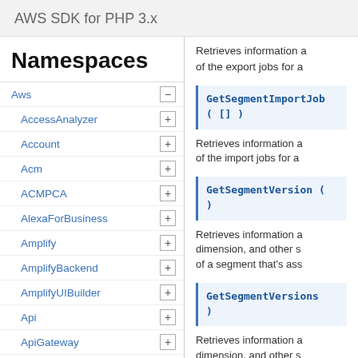AWS SDK for PHP 3.x
Namespaces
Aws
AccessAnalyzer
Account
Acm
ACMPCA
AlexaForBusiness
Amplify
AmplifyBackend
AmplifyUIBuilder
Api
ApiGateway
ApiGatewayManagementApi
Retrieves information about all of the export jobs for a
GetSegmentImportJob( [] )
Retrieves information about all of the import jobs for a
GetSegmentVersion ( )
Retrieves information about dimension, and other s of a segment that's ass
GetSegmentVersions )
Retrieves information about dimension, and other s a specific segment tha application.